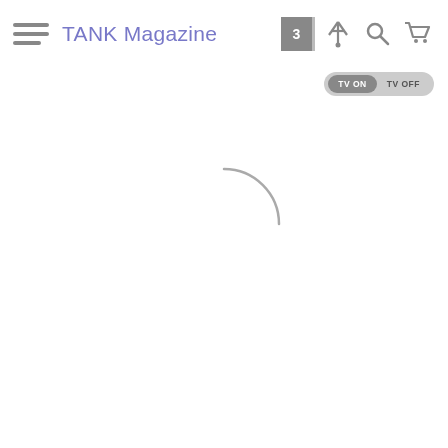TANK Magazine
[Figure (other): Loading spinner — a partial circle arc (top half) rendered in light grey, indicating a page loading state]